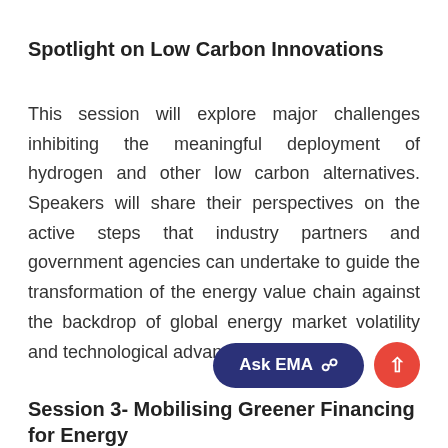Spotlight on Low Carbon Innovations
This session will explore major challenges inhibiting the meaningful deployment of hydrogen and other low carbon alternatives. Speakers will share their perspectives on the active steps that industry partners and government agencies can undertake to guide the transformation of the energy value chain against the backdrop of global energy market volatility and technological advancements.
Session 3- Mobilising Greener Financing for Energy